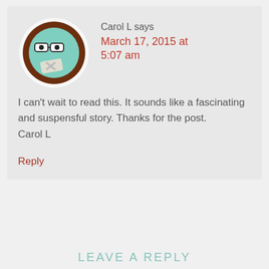[Figure (illustration): Avatar icon: a round emoji-style face with brown border, mint green face, glasses, and a bandage over the mouth]
Carol L says
March 17, 2015 at 5:07 am
I can't wait to read this. It sounds like a fascinating and suspensful story. Thanks for the post.
Carol L
Reply
LEAVE A REPLY